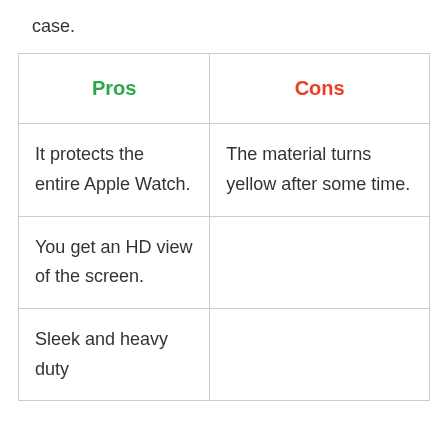case.
| Pros | Cons |
| --- | --- |
| It protects the entire Apple Watch. | The material turns yellow after some time. |
| You get an HD view of the screen. |  |
| Sleek and heavy duty |  |